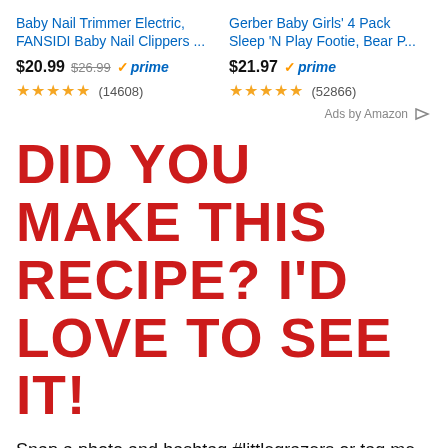[Figure (other): Amazon ad unit showing two products: Baby Nail Trimmer Electric (FANSIDI Baby Nail Clippers ...) at $20.99 (orig $26.99), Prime, 4.5 stars (14608 reviews); Gerber Baby Girls' 4 Pack Sleep 'N Play Footie, Bear P... at $21.97, Prime, 5 stars (52866 reviews). 'Ads by Amazon' label with arrow icon at bottom right.]
DID YOU MAKE THIS RECIPE? I'D LOVE TO SEE IT!
Snap a photo and hashtag #littlegrazers or tag me @littlegrazers on Instagram!
© All images and content on Little Grazers are copyright protected. Please do not use my